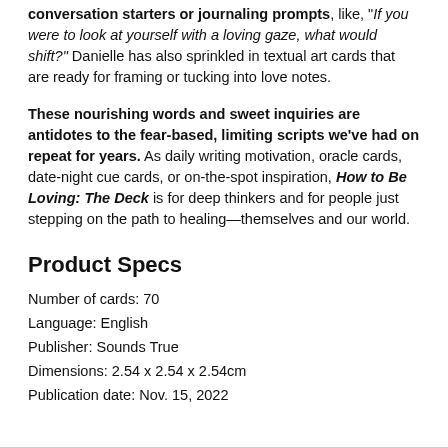conversation starters or journaling prompts, like, "If you were to look at yourself with a loving gaze, what would shift?" Danielle has also sprinkled in textual art cards that are ready for framing or tucking into love notes.
These nourishing words and sweet inquiries are antidotes to the fear-based, limiting scripts we've had on repeat for years. As daily writing motivation, oracle cards, date-night cue cards, or on-the-spot inspiration, How to Be Loving: The Deck is for deep thinkers and for people just stepping on the path to healing—themselves and our world.
Product Specs
Number of cards: 70
Language: English
Publisher: Sounds True
Dimensions: 2.54 x 2.54 x 2.54cm
Publication date: Nov. 15, 2022